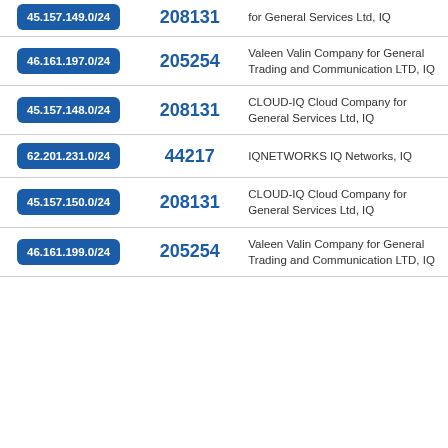| IP Range | ASN | Organization |
| --- | --- | --- |
| 45.157.149.0/24 | 208131 | for General Services Ltd, IQ |
| 46.161.197.0/24 | 205254 | Valeen Valin Company for General Trading and Communication LTD, IQ |
| 45.157.148.0/24 | 208131 | CLOUD-IQ Cloud Company for General Services Ltd, IQ |
| 62.201.231.0/24 | 44217 | IQNETWORKS IQ Networks, IQ |
| 45.157.150.0/24 | 208131 | CLOUD-IQ Cloud Company for General Services Ltd, IQ |
| 46.161.199.0/24 | 205254 | Valeen Valin Company for General Trading and Communication LTD, IQ |